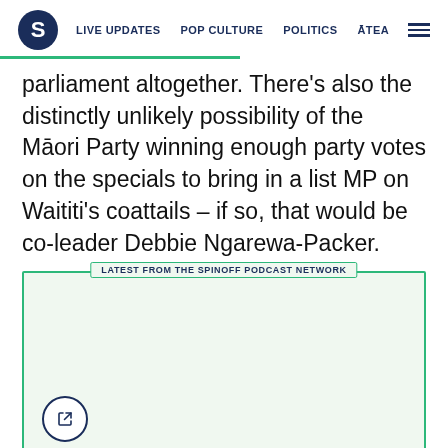S | LIVE UPDATES | POP CULTURE | POLITICS | ĀTEA
parliament altogether. There's also the distinctly unlikely possibility of the Māori Party winning enough party votes on the specials to bring in a list MP on Waititi's coattails – if so, that would be co-leader Debbie Ngarewa-Packer.
[Figure (other): A podcast embed widget box labeled 'LATEST FROM THE SPINOFF PODCAST NETWORK' with a share/export icon button at bottom left. The box has a green border and light green background.]